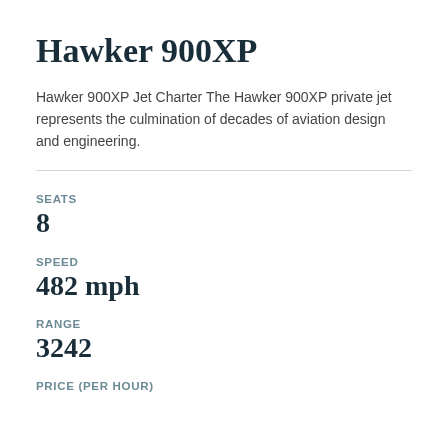Hawker 900XP
Hawker 900XP Jet Charter The Hawker 900XP private jet represents the culmination of decades of aviation design and engineering.
SEATS
8
SPEED
482 mph
RANGE
3242
PRICE (PER HOUR)